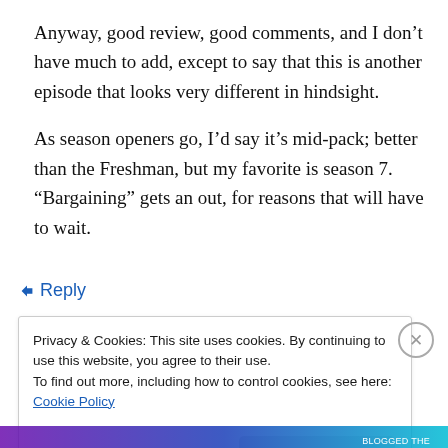Anyway, good review, good comments, and I don’t have much to add, except to say that this is another episode that looks very different in hindsight.

As season openers go, I’d say it’s mid-pack; better than the Freshman, but my favorite is season 7. “Bargaining” gets an out, for reasons that will have to wait.
↵ Reply
Privacy & Cookies: This site uses cookies. By continuing to use this website, you agree to their use.
To find out more, including how to control cookies, see here: Cookie Policy
Close and accept